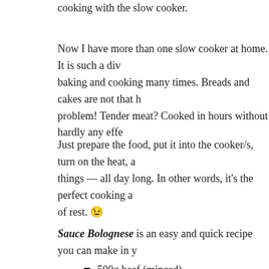cooking with the slow cooker.
Now I have more than one slow cooker at home. It is such a div baking and cooking many times. Breads and cakes are not that h problem! Tender meat? Cooked in hours without hardly any effe
Just prepare the food, put it into the cooker/s, turn on the heat, a things — all day long. In other words, it's the perfect cooking a of rest. 😉
Sauce Bolognese is an easy and quick recipe you can make in y
500g beef (minced)
3 tbsp tomato puree
1 tbsp flour
1 can tomatoes (juice incl.)
1 cup boiling water
seasoning